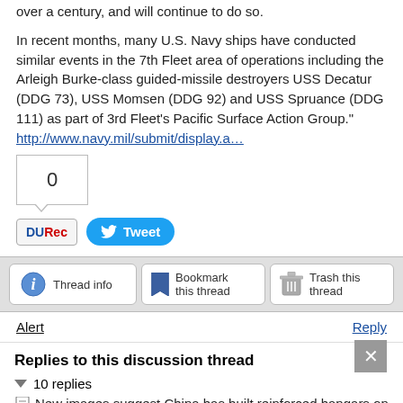over a century, and will continue to do so.
In recent months, many U.S. Navy ships have conducted similar events in the 7th Fleet area of operations including the Arleigh Burke-class guided-missile destroyers USS Decatur (DDG 73), USS Momsen (DDG 92) and USS Spruance (DDG 111) as part of 3rd Fleet's Pacific Surface Action Group."
http://www.navy.mil/submit/display.a…
[Figure (other): Vote count box showing 0, with DURec and Tweet buttons]
[Figure (other): Thread action bar with Thread info, Bookmark this thread, and Trash this thread buttons]
Alert
Reply
Replies to this discussion thread
10 replies
New images suggest China has built reinforced hangars on disputed
The only way to get China out of there now will be to start a war
Pretty much sums it up